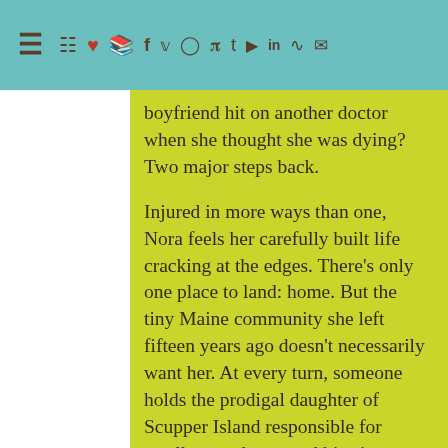☰ [shopping cart] [heart] [book] f [twitter] [instagram] p t [youtube] in [rss] [mail]
boyfriend hit on another doctor when she thought she was dying? Two major steps back.
Injured in more ways than one, Nora feels her carefully built life cracking at the edges. There's only one place to land: home. But the tiny Maine community she left fifteen years ago doesn't necessarily want her. At every turn, someone holds the prodigal daughter of Scupper Island responsible for small-town drama and big-time disappointments.
With a tough islander mother who's always been distant and a wild-child sister in jail, unable to raise her…